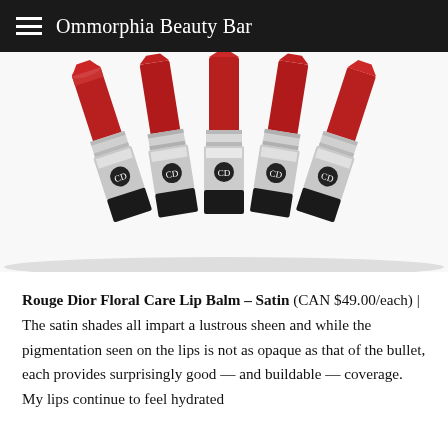Ommorphia Beauty Bar
[Figure (photo): Five red Rouge Dior lipsticks with silver cases arranged in a fan/spread formation against a white background, showing the CD logo on each case]
Rouge Dior Floral Care Lip Balm – Satin (CAN $49.00/each) | The satin shades all impart a lustrous sheen and while the pigmentation seen on the lips is not as opaque as that of the bullet, each provides surprisingly good — and buildable — coverage. My lips continue to feel hydrated